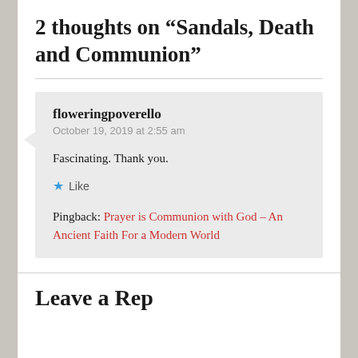2 thoughts on “Sandals, Death and Communion”
floweringpoverello
October 19, 2019 at 2:55 am

Fascinating. Thank you.

★ Like

Pingback: Prayer is Communion with God – An Ancient Faith For a Modern World
Leave a Reply